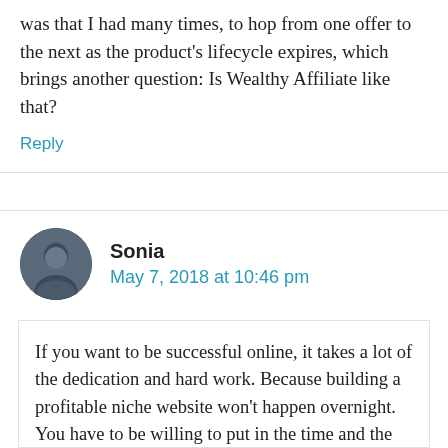was that I had many times, to hop from one offer to the next as the product’s lifecycle expires, which brings another question: Is Wealthy Affiliate like that?
Reply
Sonia
May 7, 2018 at 10:46 pm
If you want to be successful online, it takes a lot of the dedication and hard work. Because building a profitable niche website won’t happen overnight. You have to be willing to put in the time and the